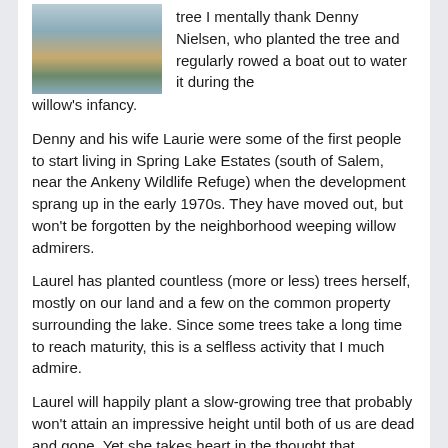[Figure (photo): A lake or pond scene with brown reeds/grasses reflected in still water, possibly with a tree.]
tree I mentally thank Denny Nielsen, who planted the tree and regularly rowed a boat out to water it during the willow's infancy.
Denny and his wife Laurie were some of the first people to start living in Spring Lake Estates (south of Salem, near the Ankeny Wildlife Refuge) when the development sprang up in the early 1970s. They have moved out, but won't be forgotten by the neighborhood weeping willow admirers.
Laurel has planted countless (more or less) trees herself, mostly on our land and a few on the common property surrounding the lake. Since some trees take a long time to reach maturity, this is a selfless activity that I much admire.
Laurel will happily plant a slow-growing tree that probably won't attain an impressive height until both of us are dead and gone. Yet she takes heart in the thought that someone else will look at the tree, maybe in the next century, and be uplifted as much as Laurel is now by the centenarian trees we enjoy.